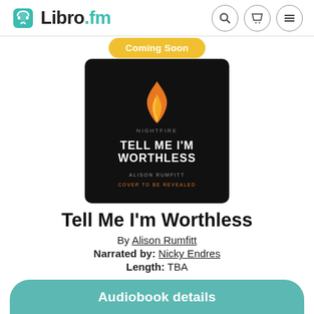Libro.fm
[Figure (illustration): Book cover for 'Tell Me I'm Worthless' by Alison Rumfitt, published by Nightfire. Black background with orange flame logo. Text reads: TELL ME I'M WORTHLESS, ALISON RUMFITT, COVER TO BE REVEALED. Yellow 'Coming Soon' badge overlaid on top.]
Tell Me I'm Worthless
By Alison Rumfitt
Narrated by: Nicky Endres
Length: TBA
Audiobook details